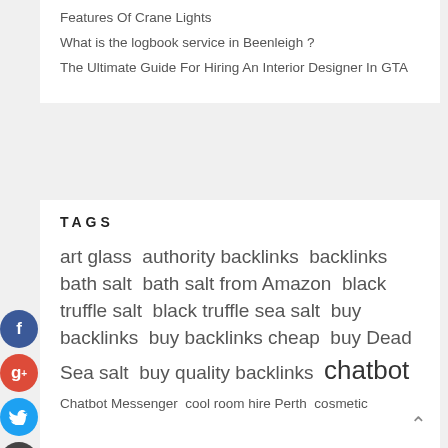Features Of Crane Lights
What is the logbook service in Beenleigh ?
The Ultimate Guide For Hiring An Interior Designer In GTA
TAGS
art glass  authority backlinks  backlinks  bath salt  bath salt from Amazon  black truffle salt  black truffle sea salt  buy backlinks  buy backlinks cheap  buy Dead Sea salt  buy quality backlinks  chatbot  Chatbot Messenger  cool room hire Perth  cosmetic